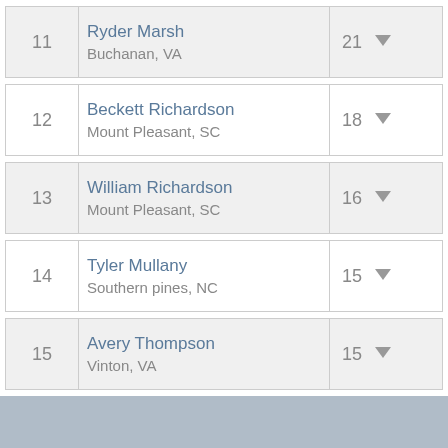11 Ryder Marsh Buchanan, VA 21
12 Beckett Richardson Mount Pleasant, SC 18
13 William Richardson Mount Pleasant, SC 16
14 Tyler Mullany Southern pines, NC 15
15 Avery Thompson Vinton, VA 15
©2022 Dirt Road, LLC. All Rights Reserved.